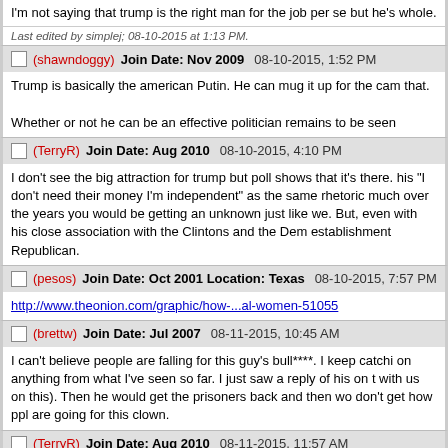I'm not saying that trump is the right man for the job per se but he's whole.
Last edited by simplej; 08-10-2015 at 1:13 PM.
(shawndoggy)  Join Date: Nov 2009  08-10-2015, 1:52 PM
Trump is basically the american Putin. He can mug it up for the cam that.

Whether or not he can be an effective politician remains to be seen
(TerryR)  Join Date: Aug 2010  08-10-2015, 4:10 PM
I don't see the big attraction for trump but poll shows that it's there. his "I don't need their money I'm independent" as the same rhetoric much over the years you would be getting an unknown just like we. But, even with his close association with the Clintons and the Dem establishment Republican.
(pesos)  Join Date: Oct 2001 Location: Texas  08-10-2015, 7:57 PM
http://www.theonion.com/graphic/how-...al-women-51055
(brettw)  Join Date: Jul 2007  08-11-2015, 10:45 AM
I can't believe people are falling for this guy's bull****. I keep catchi on anything from what I've seen so far. I just saw a reply of his on t with us on this). Then he would get the prisoners back and then wo don't get how ppl are going for this clown.
(TerryR)  Join Date: Aug 2010  08-11-2015, 11:57 AM